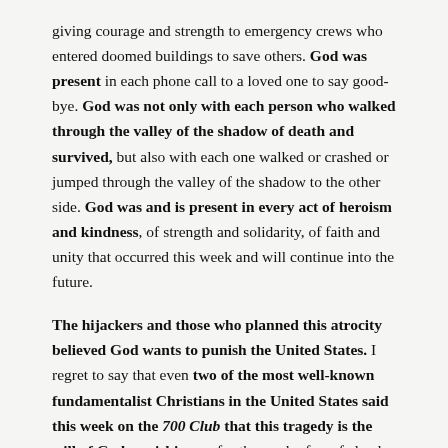giving courage and strength to emergency crews who entered doomed buildings to save others. God was present in each phone call to a loved one to say good-bye. God was not only with each person who walked through the valley of the shadow of death and survived, but also with each one walked or crashed or jumped through the valley of the shadow to the other side. God was and is present in every act of heroism and kindness, of strength and solidarity, of faith and unity that occurred this week and will continue into the future.
The hijackers and those who planned this atrocity believed God wants to punish the United States. I regret to say that even two of the most well-known fundamentalist Christians in the United States said this week on the 700 Club that this tragedy is the will of God punishing us for the work of our federal courts, the American Civil Liberties Union, People for the American Way, feminists, homosexuals and abortion rights activists. Both groups are wrong.
I do not believe in a God who takes the lives of innocents to teach a lesson to the rest of us. And neither did Jesus. God is a god not of terror...